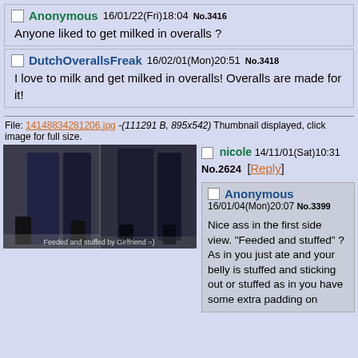Anonymous 16/01/22(Fri)18:04 No.3416 - Anyone liked to get milked in overalls ?
DutchOverallsFreak 16/02/01(Mon)20:51 No.3418 - I love to milk and get milked in overalls! Overalls are made for it!
File: 14148834281206.jpg -(111291 B, 895x542) Thumbnail displayed, click image for full size.
[Figure (photo): Two side-by-side photos of a person wearing tight jeans, showing lower body and legs. Caption reads: 'Feeded and stuffed by Girlfriend =)']
nicole 14/11/01(Sat)10:31 No.2624 [Reply]
Anonymous 16/01/04(Mon)20:07 No.3399 - Nice ass in the first side view. "Feeded and stuffed" ? As in you just ate and your belly is stuffed and sticking out or stuffed as in you have some extra padding on